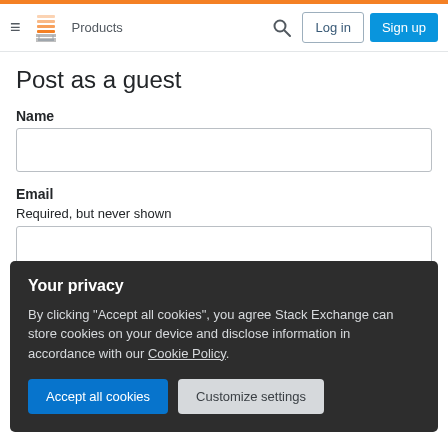≡  Products  🔍  Log in  Sign up
Post as a guest
Name
Email
Required, but never shown
Post Your Answer
By clicking "Post Your Answer", you agree to our terms of service, privacy policy and cookie policy
Your privacy
By clicking "Accept all cookies", you agree Stack Exchange can store cookies on your device and disclose information in accordance with our Cookie Policy.
Accept all cookies
Customize settings